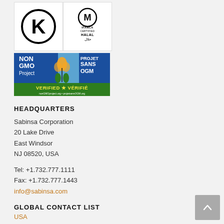[Figure (logo): Kosher K certification logo - black circle with letter K inside]
[Figure (logo): IFANCA Certified Halal logo - circle M with IFANCA CERTIFIED HALAL text and Arabic script]
[Figure (logo): Non GMO Project Verified / Projet Sans OGM Verifie bilingual certification logo with butterfly and plant imagery]
HEADQUARTERS
Sabinsa Corporation
20 Lake Drive
East Windsor
NJ 08520, USA
Tel: +1.732.777.1111
Fax: +1.732.777.1443
info@sabinsa.com
GLOBAL CONTACT LIST
USA